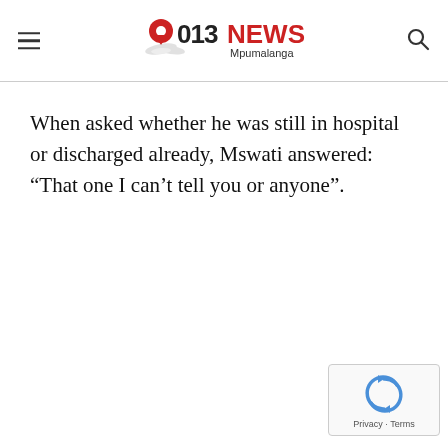013NEWS Mpumalanga
When asked whether he was still in hospital or discharged already, Mswati answered: “That one I can’t tell you or anyone”.
[Figure (logo): reCAPTCHA badge with Privacy and Terms text]